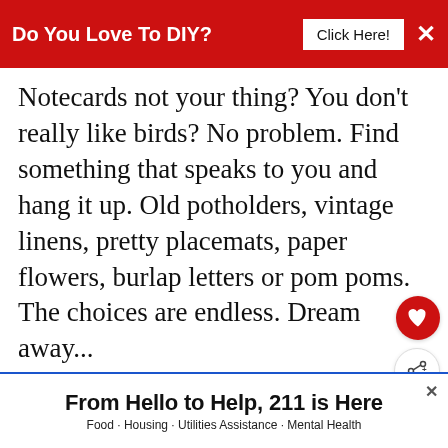Do You Love To DIY?  Click Here!  ×
Notecards not your thing? You don't really like birds? No problem. Find something that speaks to you and hang it up. Old potholders, vintage linens, pretty placemats, paper flowers, burlap letters or pom poms. The choices are endless. Dream away...
WHAT'S NEXT → Super Easy Ribbon...
To start my now banner/ valance, I
[Figure (infographic): Advertisement banner: From Hello to Help, 211 is Here. Food · Housing · Utilities Assistance · Mental Health]